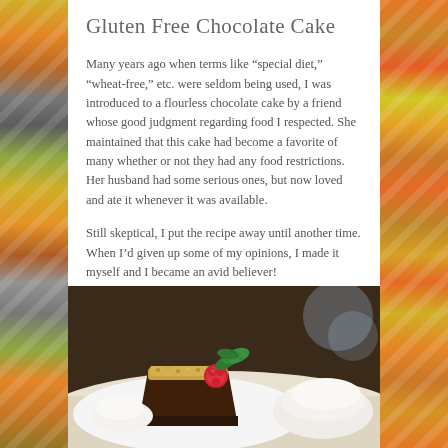Gluten Free Chocolate Cake
Many years ago when terms like “special diet,” “wheat-free,” etc. were seldom being used, I was introduced to a flourless chocolate cake by a friend whose good judgment regarding food I respected. She maintained that this cake had become a favorite of many whether or not they had any food restrictions. Her husband had some serious ones, but now loved and ate it whenever it was available.
Still skeptical, I put the recipe away until another time. When I’d given up some of my opinions, I made it myself and I became an avid believer!
[Figure (photo): A slice of chocolate cake topped with crumbled topping, garnished with a fresh raspberry and mint leaves, served alongside whipped cream on a white plate.]